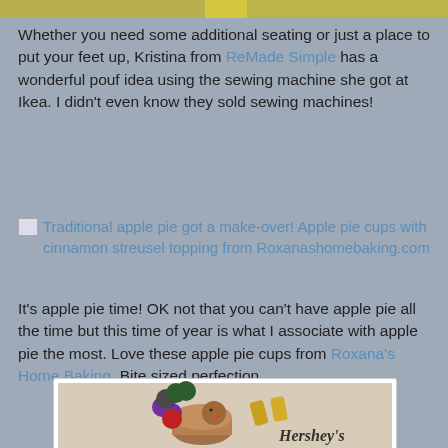[Figure (photo): Partial top image of a craft or food item with yellow-green coloring, cropped at top of page]
Whether you need some additional seating or just a place to put your feet up, Kristina from ReMade Simple has a wonderful pouf idea using the sewing machine she got at Ikea. I didn't even know they sold sewing machines!
[Figure (photo): Broken image placeholder linking to: Traditional apple pie got a make-over! Apple pie cups with cinnamon streusel topping from Roxanashomebaking.com]
It's apple pie time! OK not that you can't have apple pie all the time but this time of year is what I associate with apple pie the most. Love these apple pie cups from Roxana's Home Baking. Bite sized perfection.
[Figure (photo): Hershey's branded turkey craft made from paper/cardboard, showing a round brown turkey head with scalloped colorful feathers in purple, dark green, and red, with gold Hershey's Kisses candies nearby, on a white/cream background]